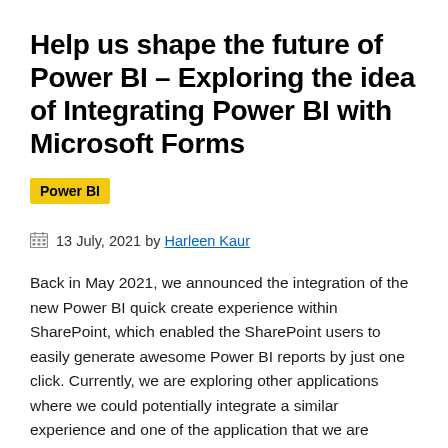Help us shape the future of Power BI – Exploring the idea of Integrating Power BI with Microsoft Forms
Power BI
13 July, 2021 by Harleen Kaur
Back in May 2021, we announced the integration of the new Power BI quick create experience within SharePoint, which enabled the SharePoint users to easily generate awesome Power BI reports by just one click. Currently, we are exploring other applications where we could potentially integrate a similar experience and one of the application that we are exploring is MS Forms. We have created a survey to